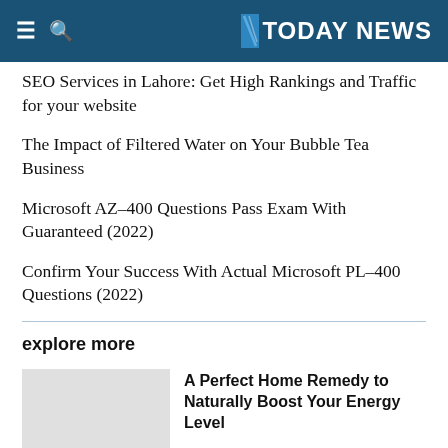TODAY NEWS
SEO Services in Lahore: Get High Rankings and Traffic for your website
The Impact of Filtered Water on Your Bubble Tea Business
Microsoft AZ-400 Questions Pass Exam With Guaranteed (2022)
Confirm Your Success With Actual Microsoft PL-400 Questions (2022)
explore more
A Perfect Home Remedy to Naturally Boost Your Energy Level
How to Choose the Best Phone